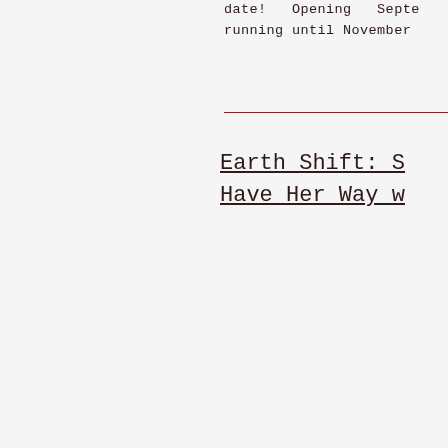date!  Opening  September  running until November
Earth Shift: S Have Her Way w